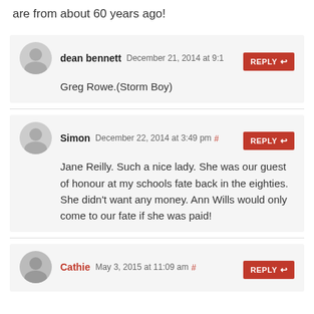are from about 60 years ago!
dean bennett December 21, 2014 at 9:1[...] REPLY
Greg Rowe.(Storm Boy)
Simon December 22, 2014 at 3:49 pm # REPLY
Jane Reilly. Such a nice lady. She was our guest of honour at my schools fate back in the eighties. She didn't want any money. Ann Wills would only come to our fate if she was paid!
Cathie May 3, 2015 at 11:09 am # REPLY